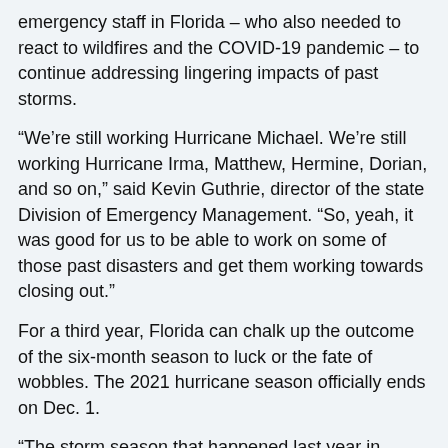emergency staff in Florida – who also needed to react to wildfires and the COVID-19 pandemic – to continue addressing lingering impacts of past storms.
“We’re still working Hurricane Michael. We’re still working Hurricane Irma, Matthew, Hermine, Dorian, and so on,” said Kevin Guthrie, director of the state Division of Emergency Management. “So, yeah, it was good for us to be able to work on some of those past disasters and get them working towards closing out.”
For a third year, Florida can chalk up the outcome of the six-month season to luck or the fate of wobbles. The 2021 hurricane season officially ends on Dec. 1.
“The storm season that happened last year in Louisiana, if you would have taken that track and moved it a number of miles to the east, then we would have had in that exact same path, you would have had major landfalling hurricanes into Jacksonville, the Panhandle, and South Florida in the exact same year,” Guthrie said.
Quoting National Hurricane Center Director Ken Graham, Guthrie added. “Wobbles matter. Little wobbles matter.”